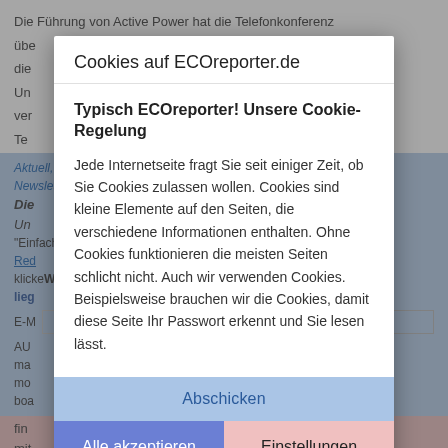Die Führung von Active Power hat die Telefonkonferenz über ... let diese ... Un ... ver ... auf Te... g
[Figure (screenshot): Background webpage content from ECOreporter.de with a blue highlighted newsletter section and a red-highlighted area, partially visible behind a cookie consent modal dialog.]
Cookies auf ECOreporter.de
Typisch ECOreporter! Unsere Cookie-Regelung
Jede Internetseite fragt Sie seit einiger Zeit, ob Sie Cookies zulassen wollen. Cookies sind kleine Elemente auf den Seiten, die verschiedene Informationen enthalten. Ohne Cookies funktionieren die meisten Seiten schlicht nicht. Auch wir verwenden Cookies. Beispielsweise brauchen wir die Cookies, damit diese Seite Ihr Passwort erkennt und Sie lesen lässt.
Abschicken
Alle akzeptieren
Einstellungen
Nicht mehr anzeigen
process has the goal of identifying the best way to enhance shareholder value. The company has engaged Vinson &